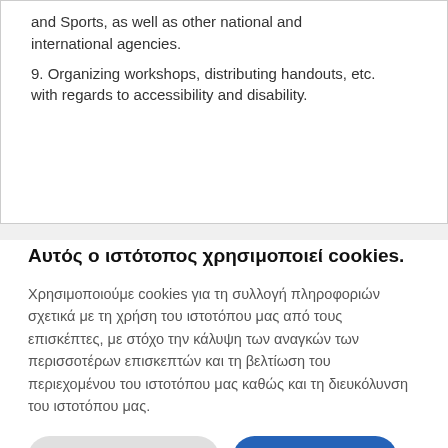and Sports, as well as other national and international agencies.
9. Organizing workshops, distributing handouts, etc. with regards to accessibility and disability.
Αυτός ο ιστότοπος χρησιμοποιεί cookies.
Χρησιμοποιούμε cookies για τη συλλογή πληροφοριών σχετικά με τη χρήση του ιστοτόπου μας από τους επισκέπτες, με στόχο την κάλυψη των αναγκών των περισσοτέρων επισκεπτών και τη βελτίωση του περιεχομένου του ιστοτόπου μας καθώς και τη διευκόλυνση του ιστοτόπου μας.
Ρυθμίσεις Cookies | Πληροφορίες | Συμφωνώ | Δε Συμφωνώ